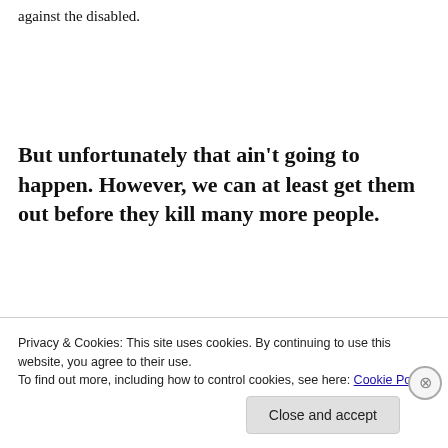against the disabled.
But unfortunately that ain't going to happen. However, we can at least get them out before they kill many more people.
[Figure (screenshot): Advertisement box with light blue background showing partial text 'Build a writing' in large serif font, with a red bar at the bottom]
Advertisements
Privacy & Cookies: This site uses cookies. By continuing to use this website, you agree to their use.
To find out more, including how to control cookies, see here: Cookie Policy